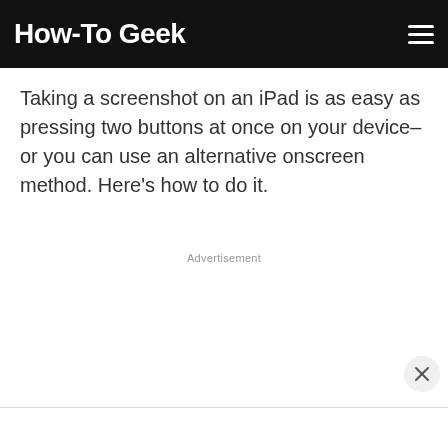How-To Geek
Taking a screenshot on an iPad is as easy as pressing two buttons at once on your device–or you can use an alternative onscreen method. Here's how to do it.
Advertisement